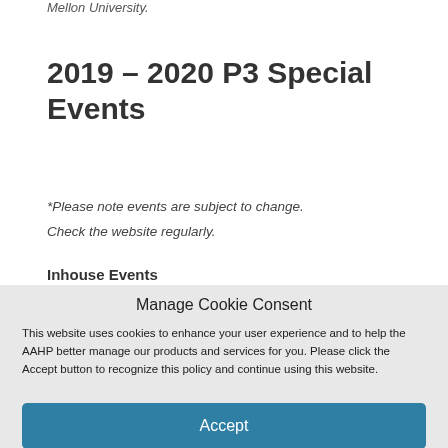Mellon University.
2019 – 2020 P3 Special Events
*Please note events are subject to change. Check the website regularly.
Inhouse Events
Manage Cookie Consent
This website uses cookies to enhance your user experience and to help the AAHP better manage our products and services for you. Please click the Accept button to recognize this policy and continue using this website.
Accept